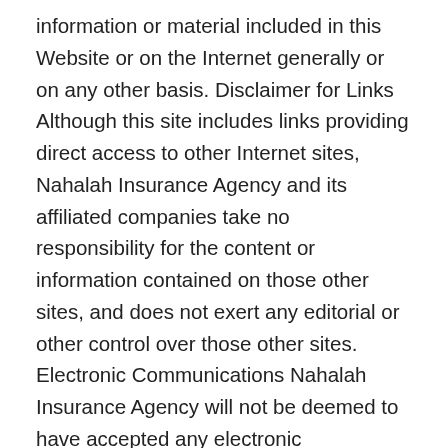information or material included in this Website or on the Internet generally or on any other basis. Disclaimer for Links Although this site includes links providing direct access to other Internet sites, Nahalah Insurance Agency and its affiliated companies take no responsibility for the content or information contained on those other sites, and does not exert any editorial or other control over those other sites. Electronic Communications Nahalah Insurance Agency will not be deemed to have accepted any electronic communication unless Nahalah Insurance Agency provides the sender of the electronic communication with an acknowledgment verifying receipt of the communication. If Nahalah Insurance Agency sends any electronic communication, Nahalah Insurance